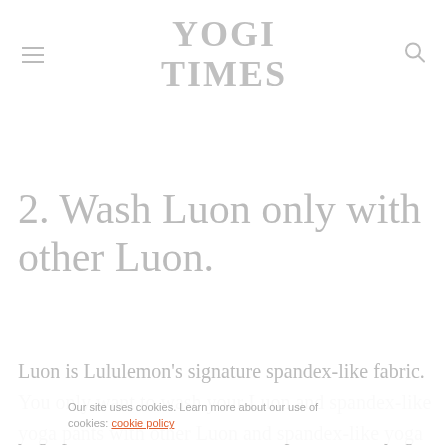YOGI TIMES
2. Wash Luon only with other Luon.
Luon is Lululemon's signature spandex-like fabric. You only want to wash your Luon and spandex-like yoga pants with other Luon and spandex-like yoga pants. Luon fabr[ic can be damaged by wash]ing in a cott[on load because the agit]ion Luon-
Our site uses cookies. Learn more about our use of cookies: cookie policy